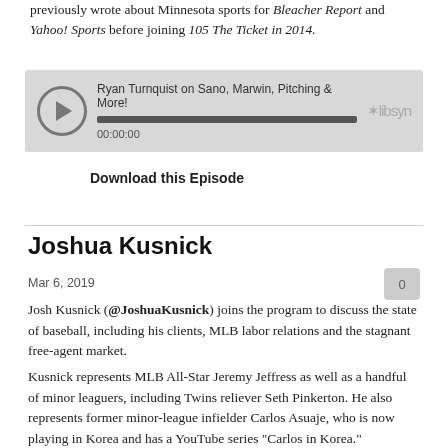previously wrote about Minnesota sports for Bleacher Report and Yahoo! Sports before joining 105 The Ticket in 2014.
[Figure (other): Podcast audio player widget showing episode title 'Ryan Turnquist on Sano, Marwin, Pitching & More!' with play button, progress bar at 00:00:00, and Libsyn logo]
Download this Episode
Joshua Kusnick
Mar 6, 2019
Josh Kusnick (@JoshuaKusnick) joins the program to discuss the state of baseball, including his clients, MLB labor relations and the stagnant free-agent market.
Kusnick represents MLB All-Star Jeremy Jeffress as well as a handful of minor leaguers, including Twins reliever Seth Pinkerton. He also represents former minor-league infielder Carlos Asuaje, who is now playing in Korea and has a YouTube series "Carlos in Korea."
Kusnick has also written for Baseball Prospectus and has a podcast of his own on NatsGM.com.
Midwest Swing is a weekly podcast where Host Brandon Warne interviews experts, coaches, and players around the league on the state of the Minnesota